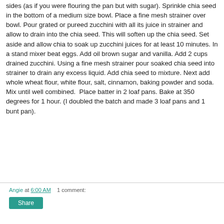sides (as if you were flouring the pan but with sugar). Sprinkle chia seed in the bottom of a medium size bowl. Place a fine mesh strainer over bowl. Pour grated or pureed zucchini with all its juice in strainer and allow to drain into the chia seed. This will soften up the chia seed. Set aside and allow chia to soak up zucchini juices for at least 10 minutes. In a stand mixer beat eggs. Add oil brown sugar and vanilla. Add 2 cups drained zucchini. Using a fine mesh strainer pour soaked chia seed into strainer to drain any excess liquid. Add chia seed to mixture. Next add whole wheat flour, white flour, salt, cinnamon, baking powder and soda. Mix until well combined.  Place batter in 2 loaf pans. Bake at 350 degrees for 1 hour. (I doubled the batch and made 3 loaf pans and 1 bunt pan).
Angie at 6:00 AM   1 comment: